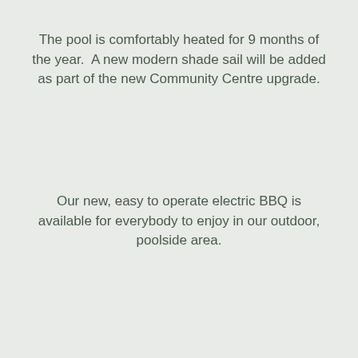The pool is comfortably heated for 9 months of the year. A new modern shade sail will be added as part of the new Community Centre upgrade.
Our new, easy to operate electric BBQ is available for everybody to enjoy in our outdoor, poolside area.